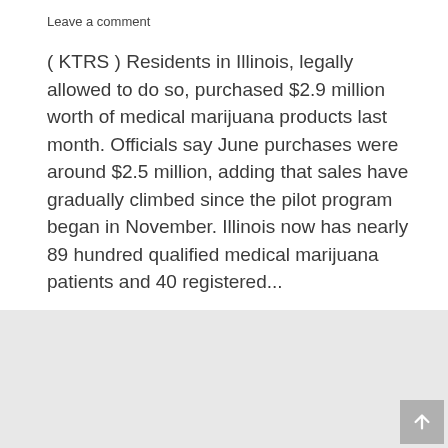Leave a comment
( KTRS ) Residents in Illinois, legally allowed to do so, purchased $2.9 million worth of medical marijuana products last month. Officials say June purchases were around $2.5 million, adding that sales have gradually climbed since the pilot program began in November. Illinois now has nearly 89 hundred qualified medical marijuana patients and 40 registered...
[Figure (other): Light gray background section at bottom of page with a scroll-to-top button in the bottom right corner]